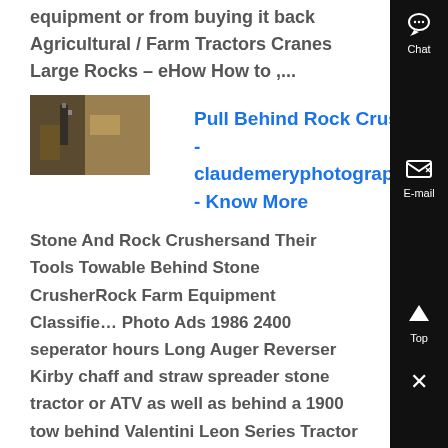equipment or from buying it back Agricultural / Farm Tractors Cranes Large Rocks – eHow How to ,...
[Figure (photo): Thumbnail image of a rock crusher or farm equipment part]
Pull Behind Rock Crusher - claudemeryphotographefr - Know More
Stone And Rock Crushersand Their Tools Towable Behind Stone CrusherRock Farm Equipment Classified Photo Ads 1986 2400 seperator hours Long Auger Reverser Kirby chaff and straw spreader stone tractor or ATV as well as behind a 1900 tow behind Valentini Leon Series Tractor 3 Point Rockstone Crushers...